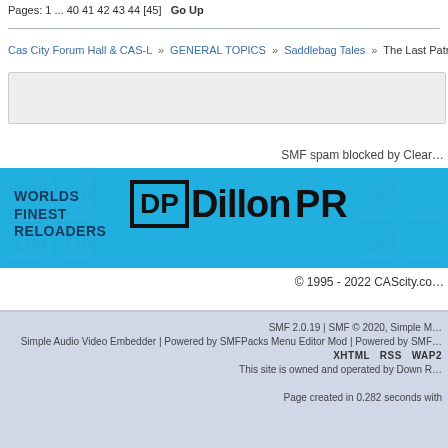Pages: 1 ... 40 41 42 43 44 [45]  Go Up
Cas City Forum Hall & CAS-L » GENERAL TOPICS » Saddlebag Tales » The Last Patrol
[Figure (screenshot): Gray content placeholder box]
SMF spam blocked by Clear
[Figure (logo): Dillon Precision banner ad — blue background, WORLDS FINEST RELOADERS text, DP logo box, Dillon PR text in black]
© 1995 - 2022 CAScity.co
SMF 2.0.19 | SMF © 2020, Simple M... Simple Audio Video Embedder | Powered by SMFPacks Menu Editor Mod | Powered by SMF... XHTML  RSS  WAP2  This site is owned and operated by Down R... Page created in 0.282 seconds with